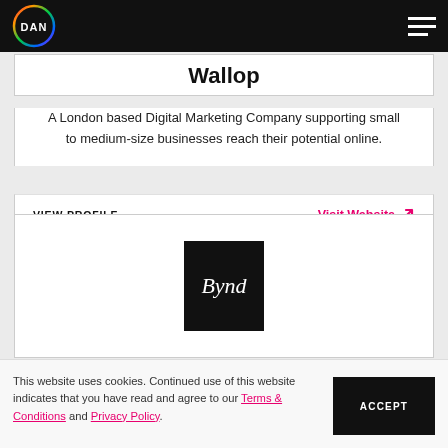DAN logo and hamburger menu navigation
Wallop
A London based Digital Marketing Company supporting small to medium-size businesses reach their potential online.
VIEW PROFILE | Visit Website
[Figure (logo): Bynd logo — white serif italic text on black square background]
This website uses cookies. Continued use of this website indicates that you have read and agree to our Terms & Conditions and Privacy Policy.